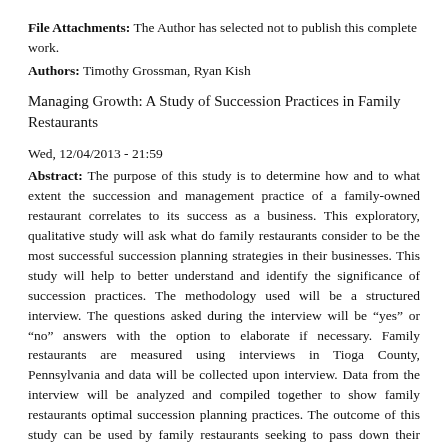File Attachments: The Author has selected not to publish this complete work.
Authors: Timothy Grossman, Ryan Kish
Managing Growth: A Study of Succession Practices in Family Restaurants
Wed, 12/04/2013 - 21:59
Abstract: The purpose of this study is to determine how and to what extent the succession and management practice of a family-owned restaurant correlates to its success as a business. This exploratory, qualitative study will ask what do family restaurants consider to be the most successful succession planning strategies in their businesses. This study will help to better understand and identify the significance of succession practices. The methodology used will be a structured interview. The questions asked during the interview will be “yes” or “no” answers with the option to elaborate if necessary. Family restaurants are measured using interviews in Tioga County, Pennsylvania and data will be collected upon interview. Data from the interview will be analyzed and compiled together to show family restaurants optimal succession planning practices. The outcome of this study can be used by family restaurants seeking to pass down their business to younger generations.